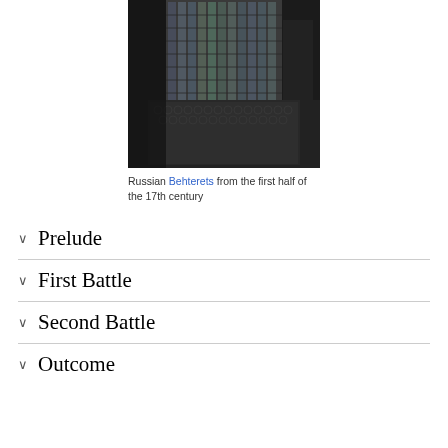[Figure (photo): Russian Behterets armor from the first half of the 17th century, displayed against a dark background. Shows interlocking metal rings and plates.]
Russian Behterets from the first half of the 17th century
Prelude
First Battle
Second Battle
Outcome